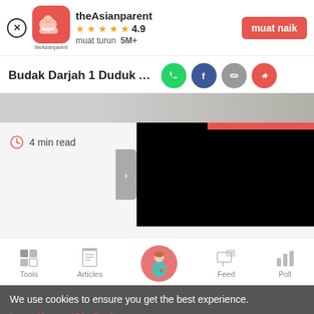[Figure (screenshot): App install banner for theAsianparent with close button, app icon, name, 4.9 star rating, 5M+ downloads, and 'muat naik' button]
Budak Darjah 1 Duduk Asrama Terlah
[Figure (screenshot): Social sharing icons: WhatsApp (green), Facebook (blue), link (grey), share (red)]
[Figure (photo): Hero image strip showing partial article image]
4 min read
[Figure (screenshot): Black advertisement/video box overlay]
[Figure (screenshot): App bottom navigation bar with Tools, Articles, home (pregnant woman icon), Feed, Poll]
We use cookies to ensure you get the best experience.
Learn More   Ok, Got it